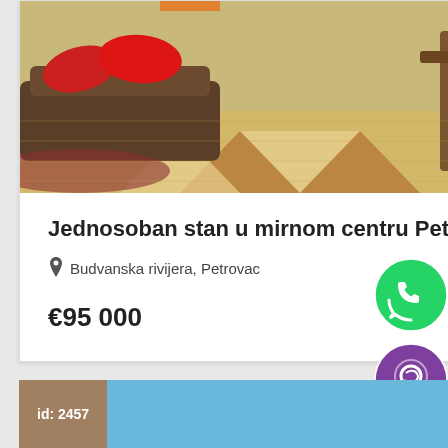[Figure (photo): Interior photo of a living room with brown sofa, red pillows, wooden floor with diamond pattern tiles]
Jednosoban stan u mirnom centru Petrovca
Budvanska rivijera, Petrovac
€95 000
[Figure (logo): WhatsApp green circular icon]
[Figure (logo): Viber purple circular icon]
[Figure (screenshot): reCAPTCHA badge with Privacy and Terms text]
id: 2457